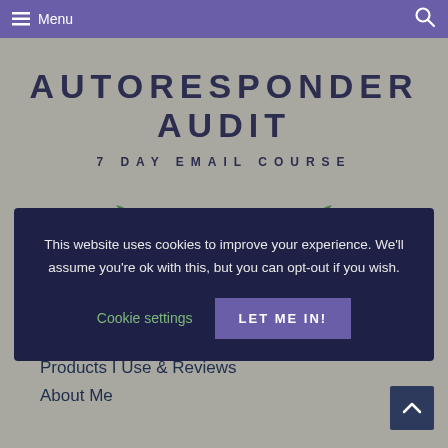Menu
AUTORESPONDER AUDIT
7 DAY EMAIL COURSE
[Figure (illustration): Decorative plant/leaf illustration with horizontal line]
This website uses cookies to improve your experience. We'll assume you're ok with this, but you can opt-out if you wish.
Cookie settings
LET ME IN!
Resource Library
Products I Use & Reviews
About Me